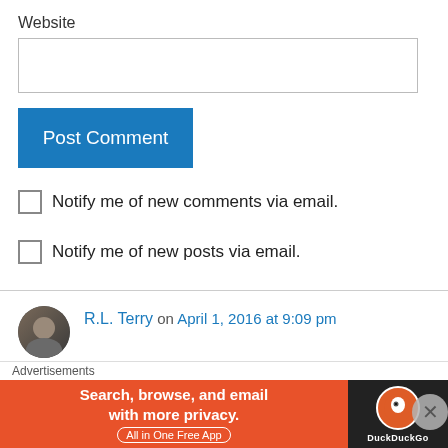Website
[Figure (screenshot): Empty text input field for website URL]
[Figure (screenshot): Blue 'Post Comment' button]
Notify me of new comments via email.
Notify me of new posts via email.
R.L. Terry on April 1, 2016 at 9:09 pm
Excellent review! I did not watch this one yet, but it's on my list of holiday season movies I missed
Advertisements
[Figure (screenshot): DuckDuckGo advertisement banner: Search, browse, and email with more privacy. All in One Free App]